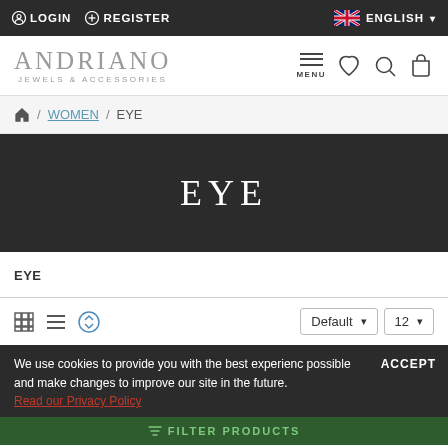LOGIN  REGISTER  ENGLISH
[Figure (logo): Andriano Jewels & Accessories logo with navigation icons (menu, heart, search, bag)]
Home / WOMEN / EYE
EYE
EYE
Default  12
We use cookies to provide you with the best experience possible and make changes to improve our site in the future. Read our Privacy Policy
ACCEPT
FILTER PRODUCTS